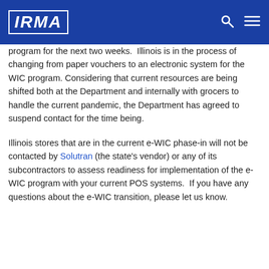IRMA
program for the next two weeks.  Illinois is in the process of changing from paper vouchers to an electronic system for the WIC program. Considering that current resources are being shifted both at the Department and internally with grocers to handle the current pandemic, the Department has agreed to suspend contact for the time being.
Illinois stores that are in the current e-WIC phase-in will not be contacted by Solutran (the state's vendor) or any of its subcontractors to assess readiness for implementation of the e-WIC program with your current POS systems. If you have any questions about the e-WIC transition, please let us know.